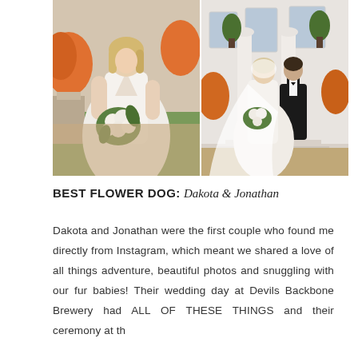[Figure (photo): Two side-by-side wedding photos. Left: A bride in a white sleeveless V-neck gown holding a large white and green bouquet, outdoors in front of a stone balustrade with orange flowers. Right: Bride and groom standing together outside a white columned mansion, bride wearing a long cathedral veil, groom in black tuxedo.]
BEST FLOWER DOG: Dakota & Jonathan
Dakota and Jonathan were the first couple who found me directly from Instagram, which meant we shared a love of all things adventure, beautiful photos and snuggling with our fur babies! Their wedding day at Devils Backbone Brewery had ALL OF THESE THINGS and their ceremony at th